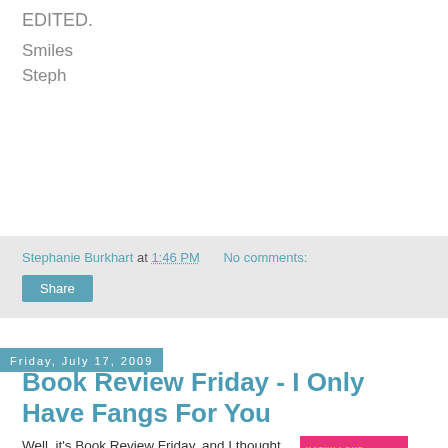EDITED.
Smiles
Steph
Stephanie Burkhart at 1:46 PM   No comments:
Share
Friday, July 17, 2009
Book Review Friday - I Only Have Fangs For You
Well, it's Book Review Friday, and I thought I'd share this book review with you. I've been a fan of Kathy's since the Stepp Sister series. With her "fangs" series, she ventured out into the realm of paranormal romance and I found this one...
[Figure (illustration): Book cover of 'I Only Have Fangs For You' by Kathy Love. Pink background with white bold text.]